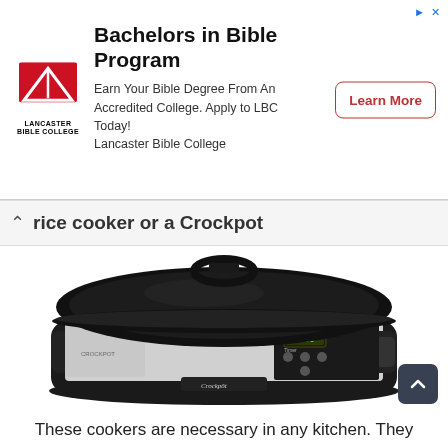[Figure (advertisement): Lancaster Bible College advertisement banner with logo, title 'Bachelors in Bible Program', body text, and Learn More button]
rice cooker or a Crockpot
[Figure (photo): A silver and black Crockpot slow cooker with glass lid and digital display showing 3:29]
These cookers are necessary in any kitchen. They